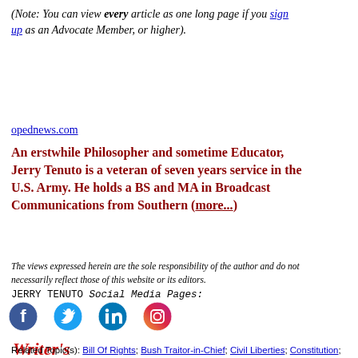(Note: You can view every article as one long page if you sign up as an Advocate Member, or higher).
opednews.com
An erstwhile Philosopher and sometime Educator, Jerry Tenuto is a veteran of seven years service in the U.S. Army. He holds a BS and MA in Broadcast Communications from Southern (more...)
The views expressed herein are the sole responsibility of the author and do not necessarily reflect those of this website or its editors.
JERRY TENUTO Social Media Pages:
[Figure (infographic): Social media icons: Facebook, Twitter, LinkedIn, Instagram]
[Figure (illustration): Writer's Guidelines logo in red italic script]
Related Topic(s): Bill Of Rights; Bush Traitor-in-Chief; Civil Liberties; Constitution; The Execution Of Democracy; Foreign; Guest...